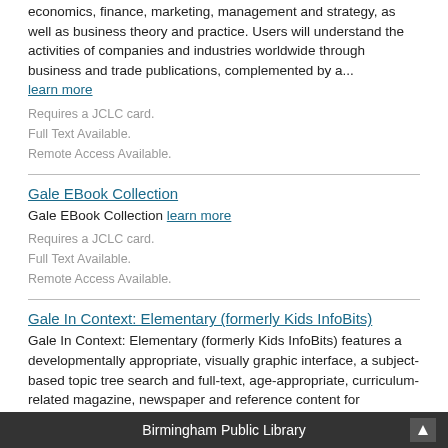economics, finance, marketing, management and strategy, as well as business theory and practice. Users will understand the activities of companies and industries worldwide through business and trade publications, complemented by a...
learn more
Requires a JCLC card.
Full Text Available.
Remote Access Available.
Gale EBook Collection
Gale EBook Collection learn more
Requires a JCLC card.
Full Text Available.
Remote Access Available.
Gale In Context: Elementary (formerly Kids InfoBits)
Gale In Context: Elementary (formerly Kids InfoBits) features a developmentally appropriate, visually graphic interface, a subject-based topic tree search and full-text, age-appropriate, curriculum-related magazine, newspaper and reference content for information on current events, the arts... learn more
Birmingham Public Library